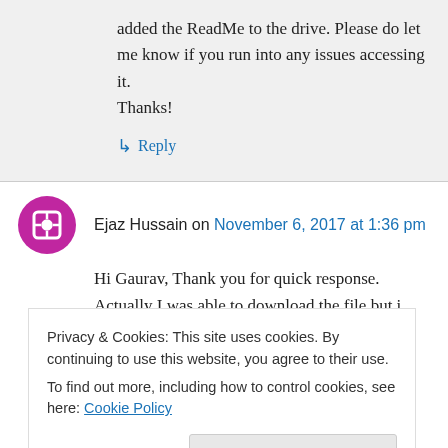added the ReadMe to the drive. Please do let me know if you run into any issues accessing it.
Thanks!
↳ Reply
Ejaz Hussain on November 6, 2017 at 1:36 pm
Hi Gaurav, Thank you for quick response. Actually I was able to download the file but i
Privacy & Cookies: This site uses cookies. By continuing to use this website, you agree to their use.
To find out more, including how to control cookies, see here: Cookie Policy
Close and accept
ReadMe.txt file with password for above